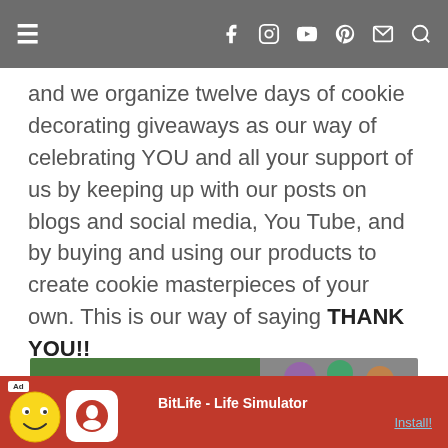Navigation bar with hamburger menu, Facebook, Instagram, YouTube, Pinterest, Email, Search icons
and we organize twelve days of cookie decorating giveaways as our way of celebrating YOU and all your support of us by keeping up with our posts on blogs and social media, You Tube, and by buying and using our products to create cookie masterpieces of your own. This is our way of saying THANK YOU!!
[Figure (photo): Partial view of a green-themed article image with animated/illustrated figures on the right side]
[Figure (infographic): Ad banner: BitLife - Life Simulator app advertisement with red background, smiley face graphic, BitLife logo, and Install button]